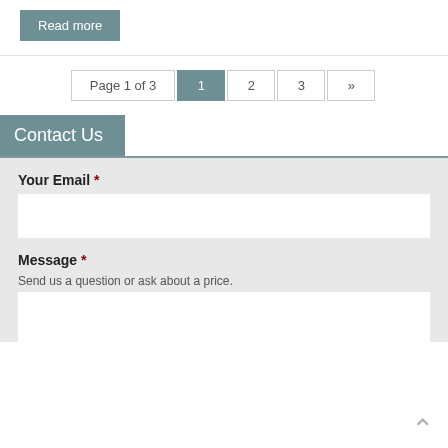Read more
Page 1 of 3  1  2  3  »
Contact Us
Your Email *
Message *
Send us a question or ask about a price.